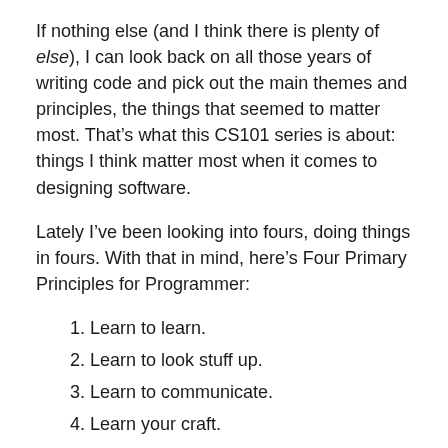If nothing else (and I think there is plenty of else), I can look back on all those years of writing code and pick out the main themes and principles, the things that seemed to matter most. That’s what this CS101 series is about: things I think matter most when it comes to designing software.
Lately I’ve been looking into fours, doing things in fours. With that in mind, here’s Four Primary Principles for Programmer:
Learn to learn.
Learn to look stuff up.
Learn to communicate.
Learn your craft.
That’s right; learning your craft is number four! I think the first three are good principles in general. All three are...